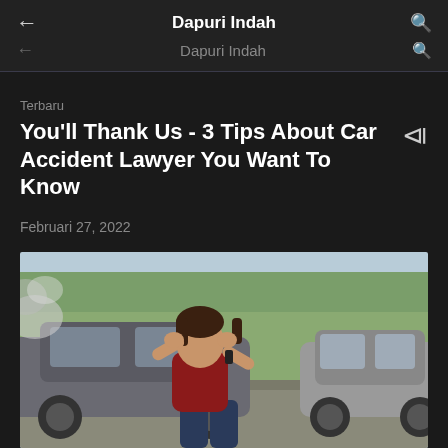Dapuri Indah
Terbaru
You'll Thank Us - 3 Tips About Car Accident Lawyer You Want To Know
Februari 27, 2022
[Figure (photo): A distressed woman sitting on the road between two cars after a car accident, holding her head with one hand and a phone with the other. Background shows two damaged vehicles and trees.]